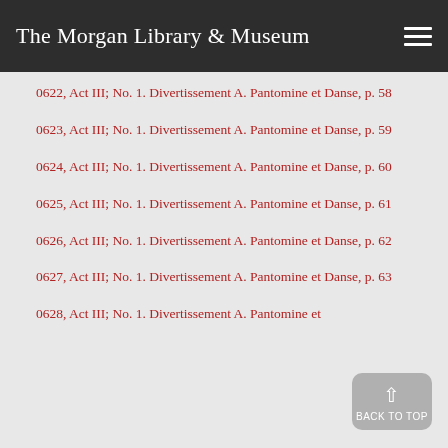The Morgan Library & Museum
0622, Act III; No. 1. Divertissement A. Pantomine et Danse, p. 58
0623, Act III; No. 1. Divertissement A. Pantomine et Danse, p. 59
0624, Act III; No. 1. Divertissement A. Pantomine et Danse, p. 60
0625, Act III; No. 1. Divertissement A. Pantomine et Danse, p. 61
0626, Act III; No. 1. Divertissement A. Pantomine et Danse, p. 62
0627, Act III; No. 1. Divertissement A. Pantomine et Danse, p. 63
0628, Act III; No. 1. Divertissement A. Pantomine et